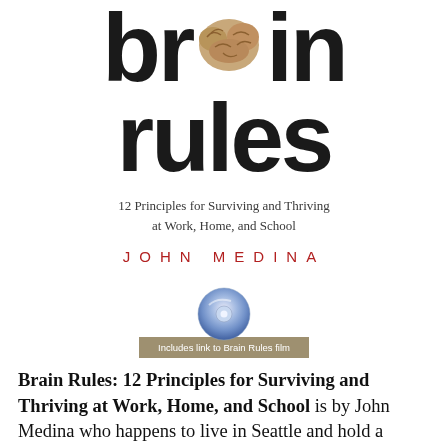brain rules
12 Principles for Surviving and Thriving at Work, Home, and School
JOHN MEDINA
[Figure (illustration): CD disc icon above a tan/olive banner that reads 'Includes link to Brain Rules film']
Brain Rules: 12 Principles for Surviving and Thriving at Work, Home, and School is by John Medina who happens to live in Seattle and hold a